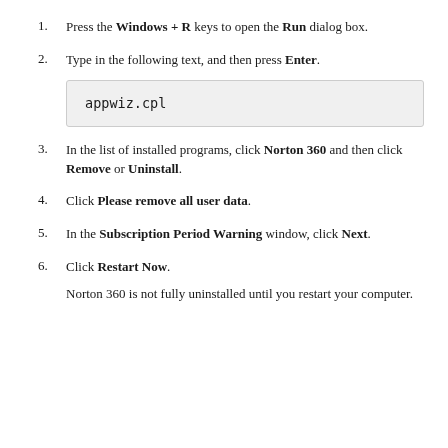Press the Windows + R keys to open the Run dialog box.
Type in the following text, and then press Enter.
appwiz.cpl
In the list of installed programs, click Norton 360 and then click Remove or Uninstall.
Click Please remove all user data.
In the Subscription Period Warning window, click Next.
Click Restart Now.
Norton 360 is not fully uninstalled until you restart your computer.